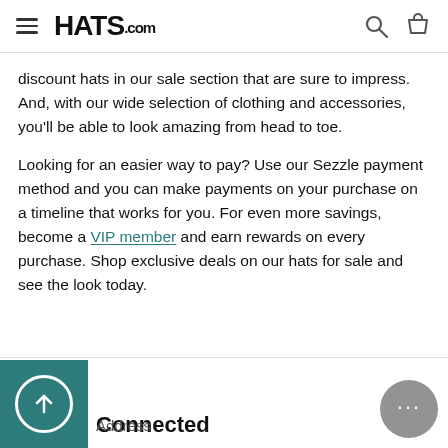HATS.com
discount hats in our sale section that are sure to impress. And, with our wide selection of clothing and accessories, you'll be able to look amazing from head to toe.
Looking for an easier way to pay? Use our Sezzle payment method and you can make payments on your purchase on a timeline that works for you. For even more savings, become a VIP member and earn rewards on every purchase. Shop exclusive deals on our hats for sale and see the look today.
Connected
Address